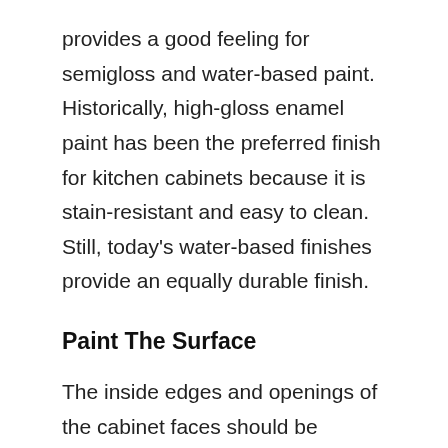provides a good feeling for semigloss and water-based paint. Historically, high-gloss enamel paint has been the preferred finish for kitchen cabinets because it is stain-resistant and easy to clean. Still, today's water-based finishes provide an equally durable finish.
Paint The Surface
The inside edges and openings of the cabinet faces should be painted first, followed by the outer cabinet sides and the face frames. The benefit is that you can work quickly on less critical areas, while you can easily see and